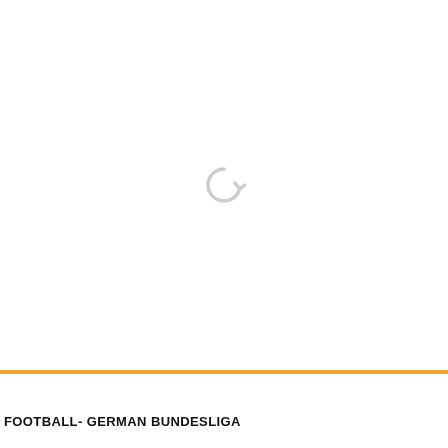[Figure (screenshot): White loading area with a gray circular refresh/loading spinner icon centered in the upper portion of the page]
FOOTBALL- GERMAN BUNDESLIGA